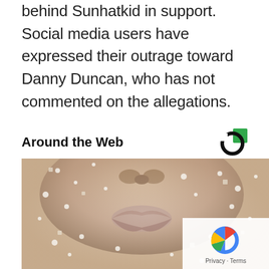behind Sunhatkid in support. Social media users have expressed their outrage toward Danny Duncan, who has not commented on the allegations.
Around the Web
[Figure (photo): Close-up photo of a person's face covered in salt or sugar crystals, showing nose, lips, and surrounding skin with white granules.]